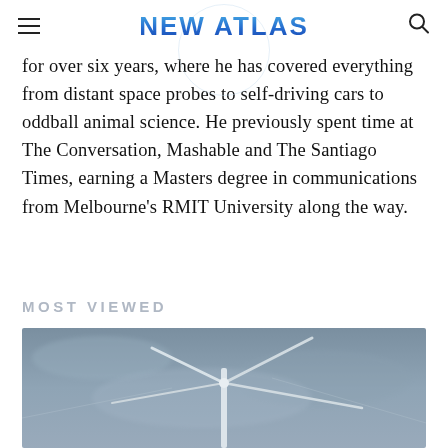NEW ATLAS
for over six years, where he has covered everything from distant space probes to self-driving cars to oddball animal science. He previously spent time at The Conversation, Mashable and The Santiago Times, earning a Masters degree in communications from Melbourne's RMIT University along the way.
MOST VIEWED
[Figure (photo): Aerial or conceptual image of a wind turbine or aircraft structure with white extending arms against a grey cloudy sky background]